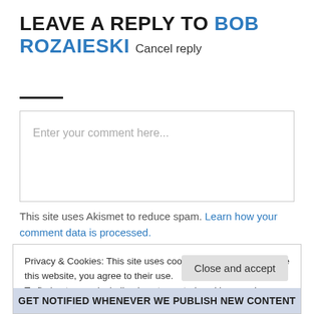LEAVE A REPLY TO BOB ROZAIESKI Cancel reply
Enter your comment here...
This site uses Akismet to reduce spam. Learn how your comment data is processed.
Privacy & Cookies: This site uses cookies. By continuing to use this website, you agree to their use. To find out more, including how to control cookies, see here: Cookie Policy
Close and accept
Get Notified Whenever We Publish New Content